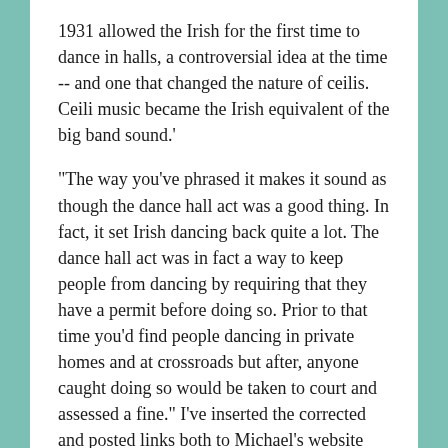1931 allowed the Irish for the first time to dance in halls, a controversial idea at the time -- and one that changed the nature of ceilis. Ceili music became the Irish equivalent of the big band sound.'
"The way you've phrased it makes it sound as though the dance hall act was a good thing. In fact, it set Irish dancing back quite a lot. The dance hall act was in fact a way to keep people from dancing by requiring that they have a permit before doing so. Prior to that time you'd find people dancing in private homes and at crossroads but after, anyone caught doing so would be taken to court and assessed a fine." I've inserted the corrected and posted links both to Michael's website and wiki on Irish dancing and to further information on the act, for which he provided links. Thanks, Michael!